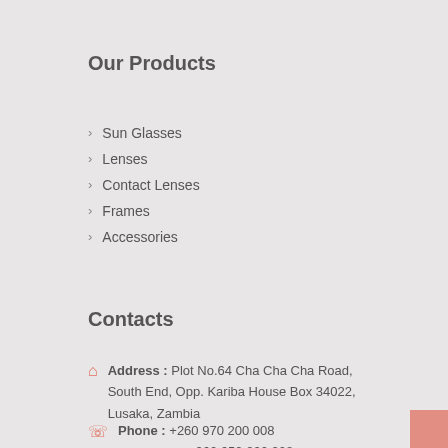Our Products
Sun Glasses
Lenses
Contact Lenses
Frames
Accessories
Contacts
Address : Plot No.64 Cha Cha Cha Road, South End, Opp. Kariba House Box 34022, Lusaka, Zambia
Phone : +260 970 200 008
+260 950 200 008